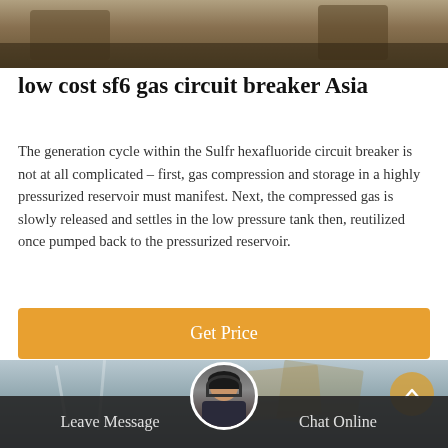[Figure (photo): Top portion of an outdoor construction or industrial site scene, showing heavy machinery or equipment on sandy/dusty ground.]
low cost sf6 gas circuit breaker Asia
The generation cycle within the Sulfr hexafluoride circuit breaker is not at all complicated – first, gas compression and storage in a highly pressurized reservoir must manifest. Next, the compressed gas is slowly released and settles in the low pressure tank then, reutilized once pumped back to the pressurized reservoir.
Get Price
[Figure (photo): Bottom portion showing industrial or construction structures with scaffolding and building components, with a chat agent avatar and navigation buttons overlaid.]